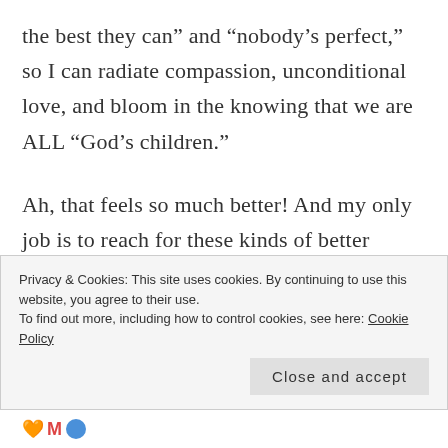the best they can” and “nobody’s perfect,” so I can radiate compassion, unconditional love, and bloom in the knowing that we are ALL “God’s children.”
Ah, that feels so much better! And my only job is to reach for these kinds of better feeling thoughts, in any moment of the day, when I begin to judge someone’s vibes, facial features,
Privacy & Cookies: This site uses cookies. By continuing to use this website, you agree to their use.
To find out more, including how to control cookies, see here: Cookie Policy
Close and accept